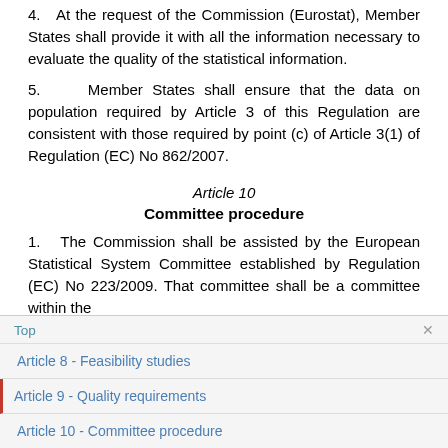4.   At the request of the Commission (Eurostat), Member States shall provide it with all the information necessary to evaluate the quality of the statistical information.
5.    Member States shall ensure that the data on population required by Article 3 of this Regulation are consistent with those required by point (c) of Article 3(1) of Regulation (EC) No 862/2007.
Article 10
Committee procedure
1.   The Commission shall be assisted by the European Statistical System Committee established by Regulation (EC) No 223/2009. That committee shall be a committee within the
Top ×
Article 8 - Feasibility studies
Article 9 - Quality requirements
Article 10 - Committee procedure